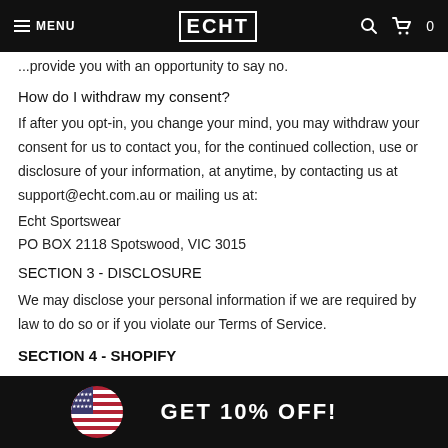MENU | ECHT | 🔍 🛒 0
provide you with an opportunity to say no.
How do I withdraw my consent?
If after you opt-in, you change your mind, you may withdraw your consent for us to contact you, for the continued collection, use or disclosure of your information, at anytime, by contacting us at support@echt.com.au or mailing us at:
Echt Sportswear
PO BOX 2118 Spotswood, VIC 3015
SECTION 3 - DISCLOSURE
We may disclose your personal information if we are required by law to do so or if you violate our Terms of Service.
SECTION 4 - SHOPIFY
GET 10% OFF!